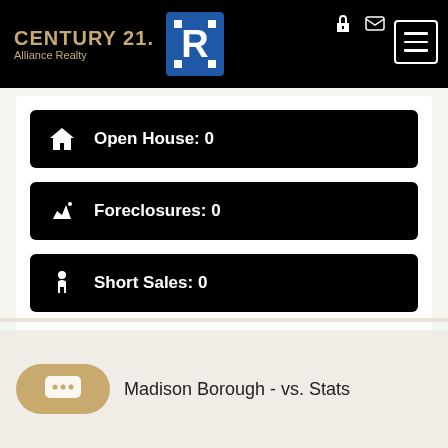CENTURY 21 Alliance Realty
Open House: 0
Foreclosures: 0
Short Sales: 0
Madison Borough - vs. Stats